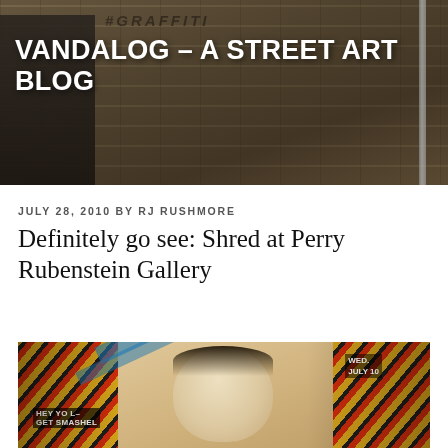[Figure (photo): Header photo of brick wall with graffiti text '#GRAFFITI' visible, person in dark jacket on left side, serving as blog header background]
VANDALOG – A STREET ART BLOG
JULY 28, 2010 BY RJ RUSHMORE
Definitely go see: Shred at Perry Rubenstein Gallery
[Figure (photo): Street art / mixed media artwork showing a comic-style illustrated face of a woman with diagonal yellow/red/black striped elements, collaged text fragments including 'HEY YO GET SMASHED' and 'WED. JULY 10', blue painted elements, on dark background]